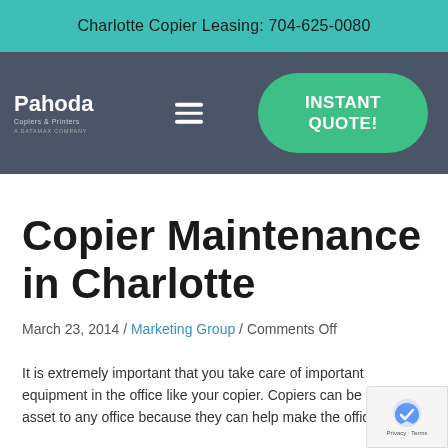Charlotte Copier Leasing: 704-625-0080
[Figure (logo): Pahoda Copiers & Printers logo with tagline, navigation bar with hamburger menu icon and green INSTANT QUOTE! button]
Copier Maintenance in Charlotte
March 23, 2014 / Marketing Group / Comments Off
It is extremely important that you take care of important equipment in the office like your copier. Copiers can be a great asset to any office because they can help make the office run